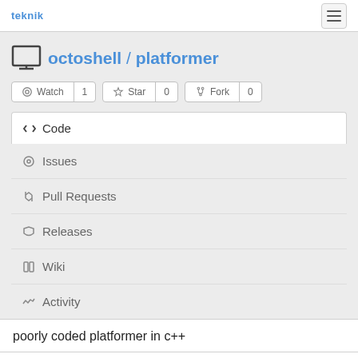teknik
octoshell / platformer
Watch 1  Star 0  Fork 0
Code
Issues
Pull Requests
Releases
Wiki
Activity
poorly coded platformer in c++